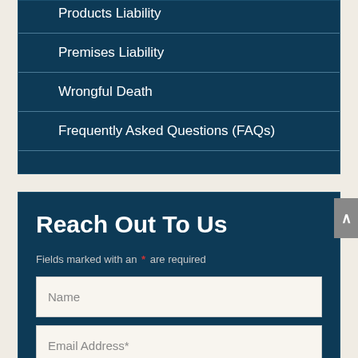Products Liability
Premises Liability
Wrongful Death
Frequently Asked Questions (FAQs)
Reach Out To Us
Fields marked with an * are required
Name
Email Address*